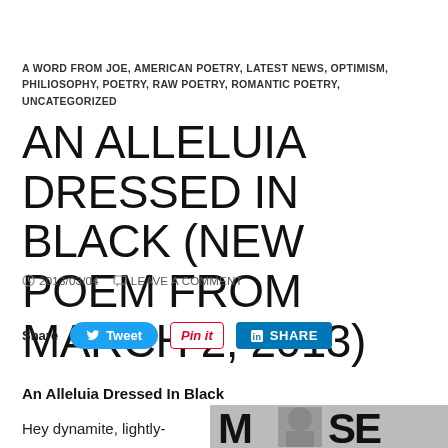A WORD FROM JOE, AMERICAN POETRY, LATEST NEWS, OPTIMISM, PHILIOSOPHY, POETRY, RAW POETRY, ROMANTIC POETRY, UNCATEGORIZED
AN ALLELUIA DRESSED IN BLACK (NEW POEM FROM MARCH 2, 2013)
2013/03/04   LEAVE A COMMENT
Share  Tweet  Pin it  SHARE
An Alleluia Dressed In Black
Hey dynamite, lightly-
[Figure (photo): Black and white photo showing partial text 'MUSE' with a person's silhouette]